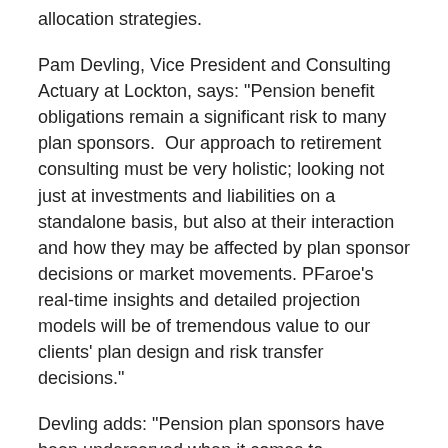allocation strategies.
Pam Devling, Vice President and Consulting Actuary at Lockton, says: "Pension benefit obligations remain a significant risk to many plan sponsors.  Our approach to retirement consulting must be very holistic; looking not just at investments and liabilities on a standalone basis, but also at their interaction and how they may be affected by plan sponsor decisions or market movements. PFaroe's real-time insights and detailed projection models will be of tremendous value to our clients' plan design and risk transfer decisions."
Devling adds: "Pension plan sponsors have been underserved when it comes to sophisticated risk analysis, especially mid-market plans. But PFaroe's efficiency and ease of use is helping to change that. We are glad to now be able to offer our clients such powerful and innovative capabilities."
Matthew Seymour, CEO, RiskFirst, says: "The evolution of the